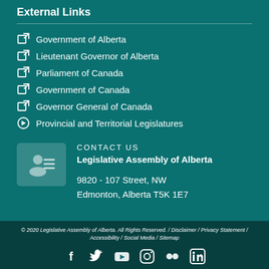External Links
Government of Alberta
Lieutenant Governor of Alberta
Parliament of Canada
Government of Canada
Governor General of Canada
Provincial and Territorial Legislatures
CONTACT US
Legislative Assembly of Alberta
9820 - 107 Street, NW
Edmonton, Alberta T5K 1E7
© 2020 Legislative Assembly of Alberta. All Rights Reserved. / Disclaimer / Privacy Statement / Accessibility / Social Media / Sitemap